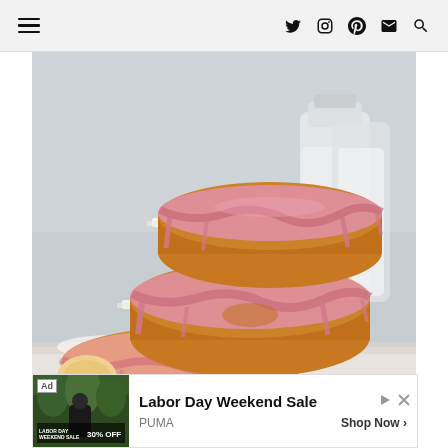Navigation header with hamburger menu and social icons: Twitter, Instagram, Pinterest, Mail, Search
[Figure (photo): Three pink-glazed donuts stacked on top of each other with parchment paper between them. The bottom donut has a bite taken out showing the fluffy interior. A glass jar of milk is visible in the background. Light grey backdrop.]
[Figure (photo): Advertisement banner for PUMA Labor Day Weekend Sale showing a person in athletic wear. Ad label visible in top left. 'Labor Day Weekend Sale' headline, PUMA brand, 'Shop Now >' call to action.]